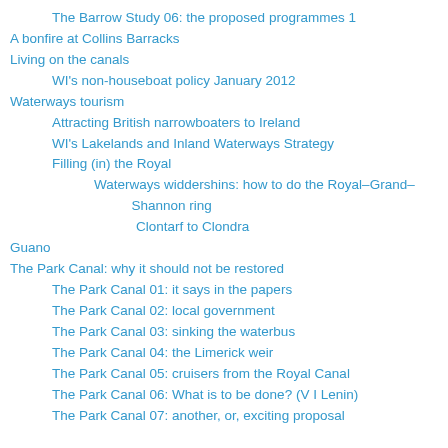The Barrow Study 06: the proposed programmes 1
A bonfire at Collins Barracks
Living on the canals
WI's non-houseboat policy January 2012
Waterways tourism
Attracting British narrowboaters to Ireland
WI's Lakelands and Inland Waterways Strategy
Filling (in) the Royal
Waterways widdershins: how to do the Royal–Grand–Shannon ring
Clontarf to Clondra
Guano
The Park Canal: why it should not be restored
The Park Canal 01: it says in the papers
The Park Canal 02: local government
The Park Canal 03: sinking the waterbus
The Park Canal 04: the Limerick weir
The Park Canal 05: cruisers from the Royal Canal
The Park Canal 06: What is to be done? (V I Lenin)
The Park Canal 07: another, or, exciting proposal